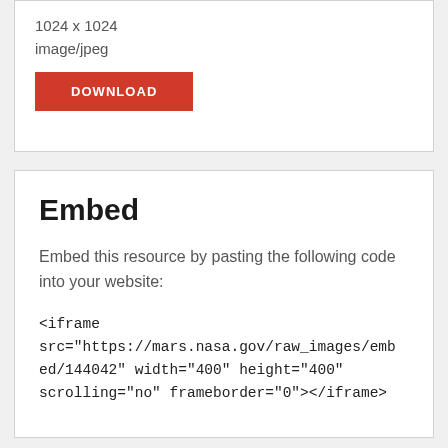1024 x 1024
image/jpeg
DOWNLOAD
Embed
Embed this resource by pasting the following code into your website:
<iframe src="https://mars.nasa.gov/raw_images/embed/144042" width="400" height="400" scrolling="no" frameborder="0"></iframe>